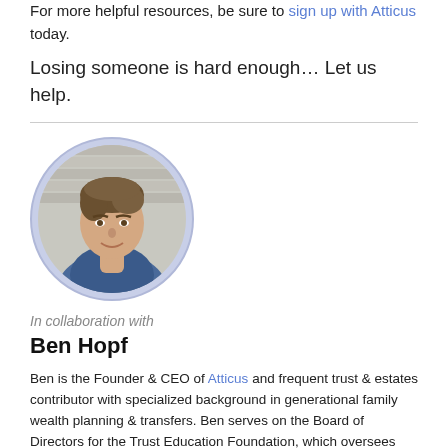For more helpful resources, be sure to sign up with Atticus today.
Losing someone is hard enough… Let us help.
[Figure (photo): Circular portrait photo of Ben Hopf, a man with brown hair wearing a blue shirt, smiling, with a brick wall background.]
In collaboration with
Ben Hopf
Ben is the Founder & CEO of Atticus and frequent trust & estates contributor with specialized background in generational family wealth planning & transfers. Ben serves on the Board of Directors for the Trust Education Foundation, which oversees internal & external support for the nation's only undergraduate & graduate